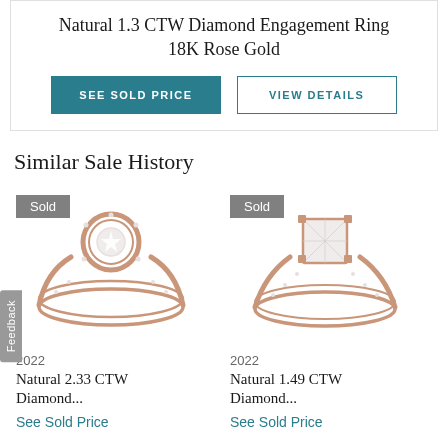Natural 1.3 CTW Diamond Engagement Ring 18K Rose Gold
SEE SOLD PRICE
VIEW DETAILS
Similar Sale History
[Figure (photo): Rose gold halo diamond engagement ring with 'Sold' badge, 2022]
2022
Natural 2.33 CTW Diamond...
See Sold Price
[Figure (photo): Rose gold princess cut diamond engagement ring with 'Sold' badge, 2022]
2022
Natural 1.49 CTW Diamond...
See Sold Price